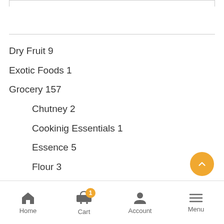Dry Fruit 9
Exotic Foods 1
Grocery 157
Chutney 2
Cookinig Essentials 1
Essence 5
Flour 3
Food Color 8
Home  Cart 1  Account  Menu